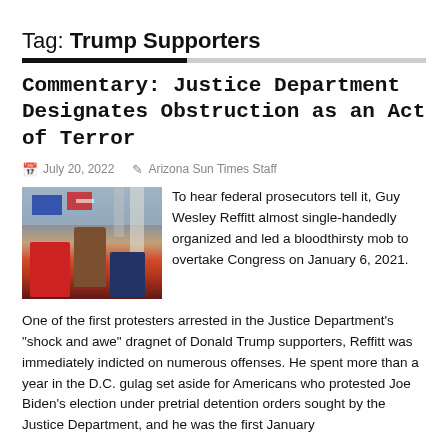Tag: Trump Supporters
Commentary: Justice Department Designates Obstruction as an Act of Terror
July 20, 2022   Arizona Sun Times Staff
[Figure (photo): Crowd of Trump supporters at the US Capitol on January 6, 2021, with flags and red-clad protesters visible]
To hear federal prosecutors tell it, Guy Wesley Reffitt almost single-handedly organized and led a bloodthirsty mob to overtake Congress on January 6, 2021.
One of the first protesters arrested in the Justice Department's “shock and awe” dragnet of Donald Trump supporters, Reffitt was immediately indicted on numerous offenses. He spent more than a year in the D.C. gulag set aside for Americans who protested Joe Biden's election under pretrial detention orders sought by the Justice Department, and he was the first January